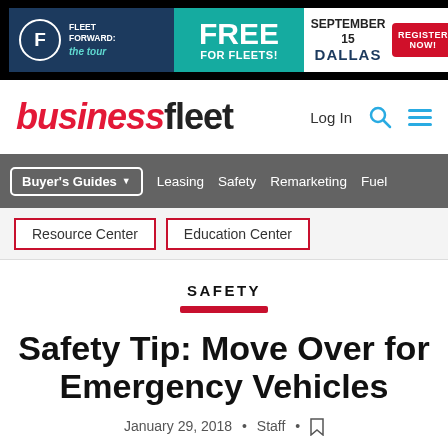[Figure (screenshot): Advertisement banner for Fleet Forward: The Tour — Free for Fleets, September 15, Dallas, Register Now!]
[Figure (logo): businessfleet logo with Log In, search, and menu icons]
[Figure (screenshot): Navigation bar with Buyer's Guides, Leasing, Safety, Remarketing, Fuel]
[Figure (screenshot): Sub-navigation with Resource Center and Education Center buttons]
SAFETY
Safety Tip: Move Over for Emergency Vehicles
January 29, 2018 • Staff •